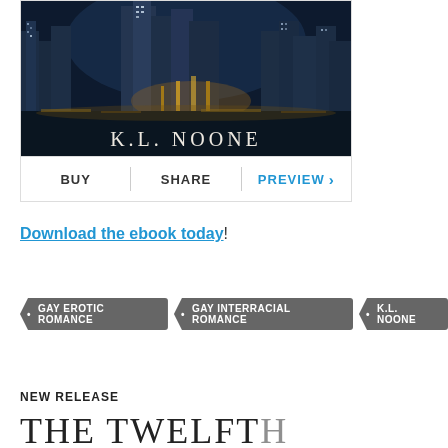[Figure (illustration): Book cover showing a nighttime city skyline with glowing buildings, with the author name K.L. NOONE in large serif letters at the bottom of the image, followed by BUY | SHARE | PREVIEW action buttons below]
Download the ebook today!
• GAY EROTIC ROMANCE   • GAY INTERRACIAL ROMANCE   • K.L. NOONE
NEW RELEASE
THE TWELFTH